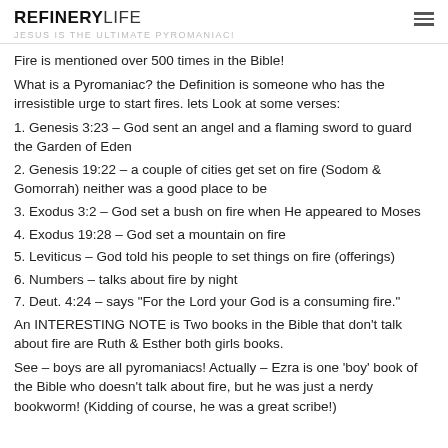REFINERYLIFE
JESUS IS THE ULTIMATE PYROMANIAC!
Fire is mentioned over 500 times in the Bible!
What is a Pyromaniac? the Definition is someone who has the irresistible urge to start fires. lets Look at some verses:
1. Genesis 3:23 – God sent an angel and a flaming sword to guard the Garden of Eden
2. Genesis 19:22 – a couple of cities get set on fire (Sodom & Gomorrah) neither was a good place to be
3. Exodus 3:2 – God set a bush on fire when He appeared to Moses
4. Exodus 19:28 – God set a mountain on fire
5. Leviticus – God told his people to set things on fire (offerings)
6. Numbers – talks about fire by night
7. Deut. 4:24 – says "For the Lord your God is a consuming fire."
An INTERESTING NOTE is Two books in the Bible that don't talk about fire are Ruth & Esther both girls books.
See – boys are all pyromaniacs! Actually – Ezra is one 'boy' book of the Bible who doesn't talk about fire, but he was just a nerdy bookworm! (Kidding of course, he was a great scribe!)